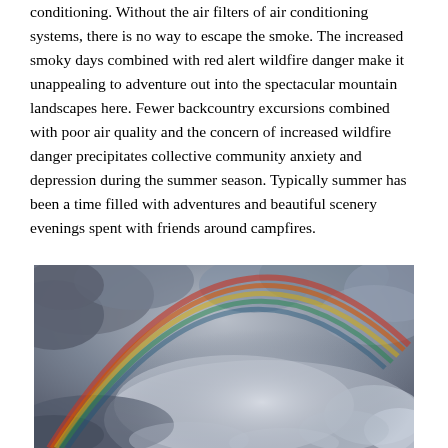conditioning. Without the air filters of air conditioning systems, there is no way to escape the smoke. The increased smoky days combined with red alert wildfire danger make it unappealing to adventure out into the spectacular mountain landscapes here. Fewer backcountry excursions combined with poor air quality and the concern of increased wildfire danger precipitates collective community anxiety and depression during the summer season. Typically summer has been a time filled with adventures and beautiful scenery evenings spent with friends around campfires.
[Figure (photo): Photograph of a dramatic cloudy sky with a rainbow arcing across from upper right to lower left, showing blue-grey storm clouds and some lighter areas near the horizon.]